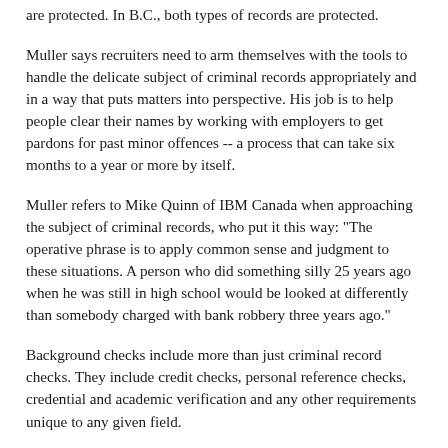are protected. In B.C., both types of records are protected.
Muller says recruiters need to arm themselves with the tools to handle the delicate subject of criminal records appropriately and in a way that puts matters into perspective. His job is to help people clear their names by working with employers to get pardons for past minor offences -- a process that can take six months to a year or more by itself.
Muller refers to Mike Quinn of IBM Canada when approaching the subject of criminal records, who put it this way: "The operative phrase is to apply common sense and judgment to these situations. A person who did something silly 25 years ago when he was still in high school would be looked at differently than somebody charged with bank robbery three years ago."
Background checks include more than just criminal record checks. They include credit checks, personal reference checks, credential and academic verification and any other requirements unique to any given field.
The current problem is the delay in finding out what the criminal record is for, given the lengthy wait times to access a definitive